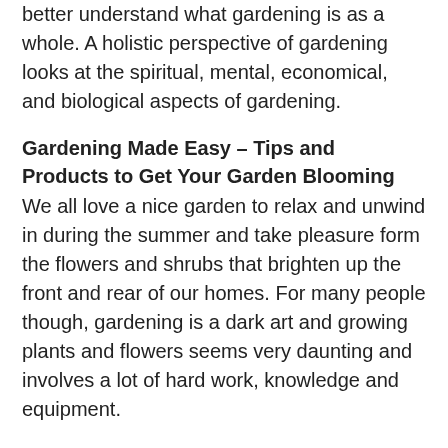better understand what gardening is as a whole. A holistic perspective of gardening looks at the spiritual, mental, economical, and biological aspects of gardening.
Gardening Made Easy – Tips and Products to Get Your Garden Blooming
We all love a nice garden to relax and unwind in during the summer and take pleasure form the flowers and shrubs that brighten up the front and rear of our homes. For many people though, gardening is a dark art and growing plants and flowers seems very daunting and involves a lot of hard work, knowledge and equipment.
Setting Up a Classy and Convenient Tone With Modern Planters
Current technological development has brought a wide variety of changes in the production of various commodities in the